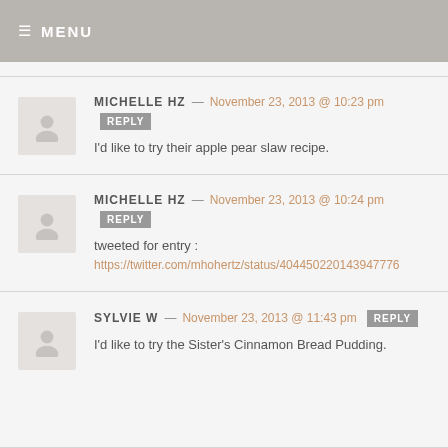≡ MENU
MICHELLE HZ — November 23, 2013 @ 10:23 pm REPLY
I'd like to try their apple pear slaw recipe.
MICHELLE HZ — November 23, 2013 @ 10:24 pm REPLY
tweeted for entry :
https://twitter.com/mhohertz/status/404450220143947776
SYLVIE W — November 23, 2013 @ 11:43 pm REPLY
I'd like to try the Sister's Cinnamon Bread Pudding.